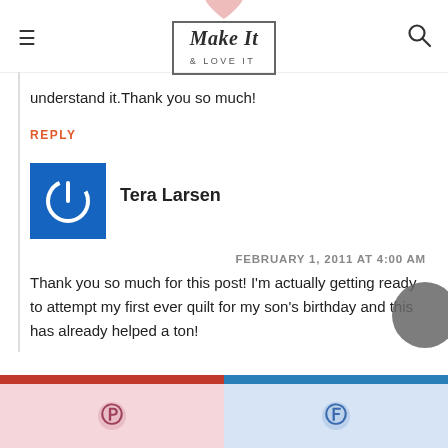Make It & LOVE IT
understand it.Thank you so much!
REPLY
[Figure (other): Blue square avatar with white power button icon for user Tera Larsen]
Tera Larsen
FEBRUARY 1, 2011 AT 4:00 AM
Thank you so much for this post! I'm actually getting ready to attempt my first ever quilt for my son's birthday and this has already helped a ton!
[Figure (other): Social sharing bar at bottom with Pinterest and Facebook buttons]